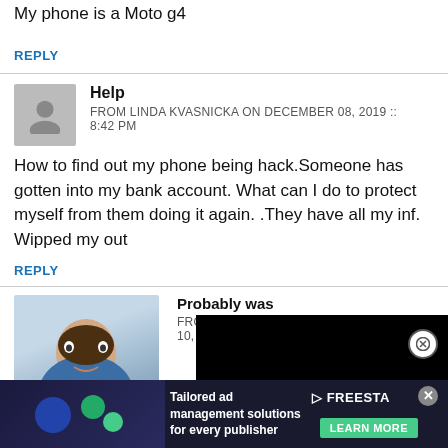My phone is a Moto g4
REPLY
Help
FROM LINDA KVASNICKA ON DECEMBER 08, 2019 :: 8:42 PM
How to find out my phone being hack.Someone has gotten into my bank account. What can I do to protect myself from them doing it again. .They have all my inf. Wipped my out
REPLY
Probably was
FROM JOSH K... 10, 2019 :: 12:0...
[Figure (photo): Profile photo of a man in blue shirt]
[Figure (screenshot): Black video overlay with close button]
[Figure (infographic): Tailored ad management solutions for every publisher - FREESTAR ad banner with LEARN MORE button]